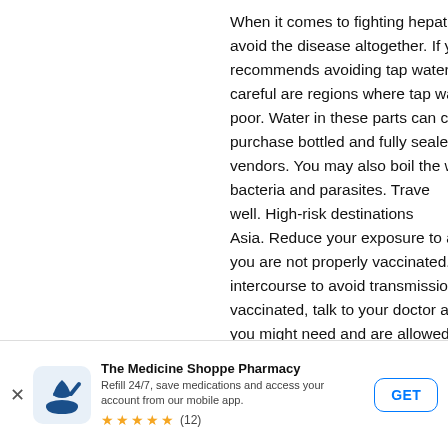When it comes to fighting hepatitis, prevention is the best way to avoid the disease altogether. If you are traveling, the CDC recommends avoiding tap water. Specific regions to be careful are regions where tap water infrastructure is poor. Water in these parts can carry bacteria, so be sure to purchase bottled and fully sealed water from reputable vendors. You may also boil the water to kill any remaining bacteria and parasites. Travelers' diarrhea is a concern as well. High-risk destinations include Latin America and Asia. Reduce your exposure to all possible infections if you are not properly vaccinated. Use protection during sexual intercourse to avoid transmission in this manner. To get vaccinated, talk to your doctor about which vaccinations you might need and are allowed. Do
[Figure (other): Accessibility icon - circular blue badge with white person figure inside]
[Figure (other): The Medicine Shoppe Pharmacy app banner with logo, description 'Refill 24/7, save medications and access your account from our mobile app.', 5-star rating with (12) reviews, and GET button]